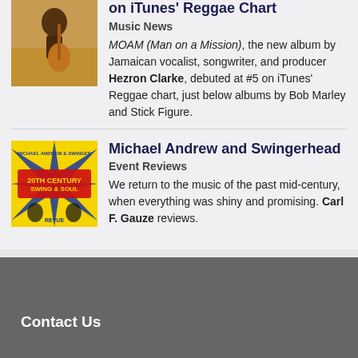[Figure (photo): Thumbnail photo of a woman playing guitar, appears to be Jamaican artist Hezron Clarke]
on iTunes' Reggae Chart
Music News
MOAM (Man on a Mission), the new album by Jamaican vocalist, songwriter, and producer Hezron Clarke, debuted at #5 on iTunes' Reggae chart, just below albums by Bob Marley and Stick Figure.
[Figure (photo): Album cover for Michael Andrew and Swingerhead '20th Century Swing & Soul Revue']
Michael Andrew and Swingerhead
Event Reviews
We return to the music of the past mid-century, when everything was shiny and promising. Carl F. Gauze reviews.
Contact Us